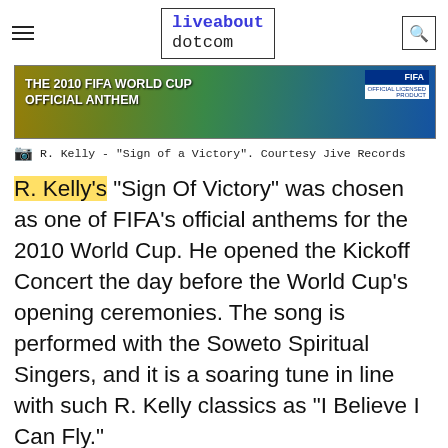liveabout dotcom
[Figure (photo): The 2010 FIFA World Cup Official Anthem album/single cover banner with brown, green, and blue colors and FIFA logo]
R. Kelly - "Sign of a Victory". Courtesy Jive Records
R. Kelly's "Sign Of Victory" was chosen as one of FIFA's official anthems for the 2010 World Cup. He opened the Kickoff Concert the day before the World Cup's opening ceremonies. The song is performed with the Soweto Spiritual Singers, and it is a soaring tune in line with such R. Kelly classics as "I Believe I Can Fly."
Watch Video
[Figure (screenshot): Dotdash Meredith advertisement banner: 'We help people find answers, solve problems and get inspired.' with Dotdash Meredith logo]